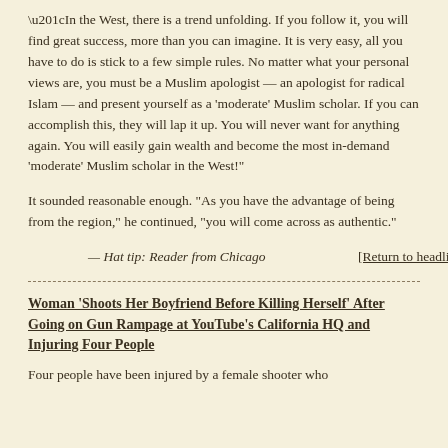“In the West, there is a trend unfolding. If you follow it, you will find great success, more than you can imagine. It is very easy, all you have to do is stick to a few simple rules. No matter what your personal views are, you must be a Muslim apologist — an apologist for radical Islam — and present yourself as a ‘moderate’ Muslim scholar. If you can accomplish this, they will lap it up. You will never want for anything again. You will easily gain wealth and become the most in-demand ‘moderate’ Muslim scholar in the West!”
It sounded reasonable enough. “As you have the advantage of being from the region,” he continued, “you will come across as authentic.”
— Hat tip: Reader from Chicago
[Return to headlines]
Woman ‘Shoots Her Boyfriend Before Killing Herself’ After Going on Gun Rampage at YouTube’s California HQ and Injuring Four People
Four people have been injured by a female shooter who